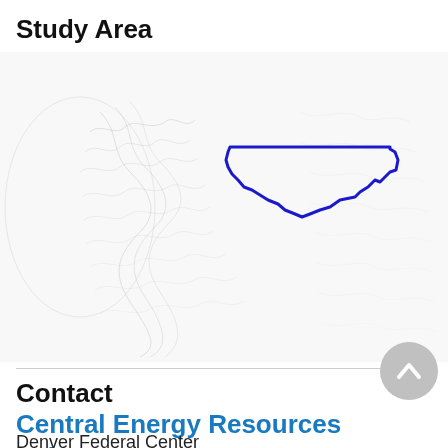Study Area
[Figure (map): Map of the western United States showing state outlines in light grey. A blue outlined region highlights Montana in the northern Rocky Mountain area.]
Contact
Central Energy Resources Science Center
Denver Federal Center